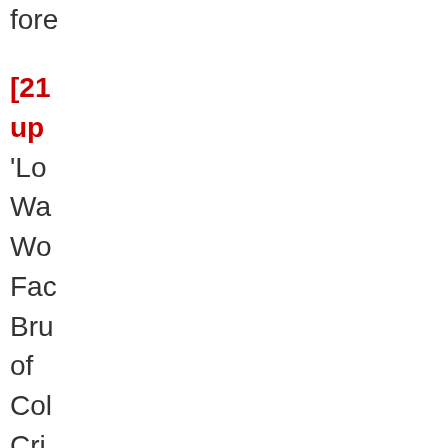fore
[21 up’Lo Wa Wo Fac Bru of Col Cri (here is one of the ma new arti exp to us the
(here